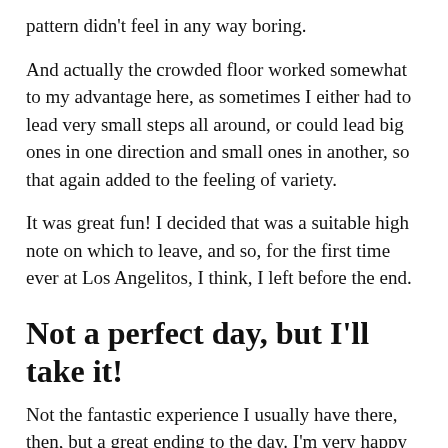pattern didn't feel in any way boring.
And actually the crowded floor worked somewhat to my advantage here, as sometimes I either had to lead very small steps all around, or could lead big ones in one direction and small ones in another, so that again added to the feeling of variety.
It was great fun! I decided that was a suitable high note on which to leave, and so, for the first time ever at Los Angelitos, I think, I left before the end.
Not a perfect day, but I'll take it!
Not the fantastic experience I usually have there, then, but a great ending to the day. I'm very happy that I have now officially upgraded myself to full milonga tandas. And I'm really pleased that the work I put in at the practica on the forward-step exit to the giro paid off!